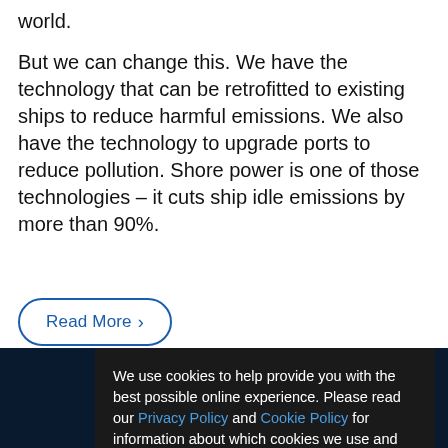world.
But we can change this. We have the technology that can be retrofitted to existing ships to reduce harmful emissions. We also have the technology to upgrade ports to reduce pollution. Shore power is one of those technologies – it cuts ship idle emissions by more than 90%.
[Figure (other): Read More button with arrow, rounded border in blue]
We use cookies to help provide you with the best possible online experience. Please read our Privacy Policy and Cookie Policy for information about which cookies we use and what information we collect on our site. By continuing to use this site, you agree that we may store and access cookies on your device.
[Figure (other): I AGREE button in dark teal/blue background]